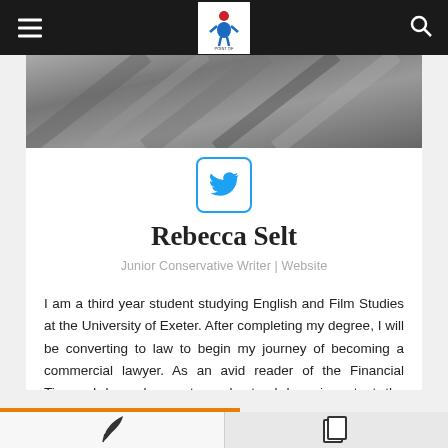Point of Information - Navigation Bar
[Figure (photo): Black and white profile photo of Rebecca Selt]
[Figure (other): Twitter social media icon button with blue bird logo in rounded square border]
Rebecca Selt
Junior Conservative Writer | Website
I am a third year student studying English and Film Studies at the University of Exeter. After completing my degree, I will be converting to law to begin my journey of becoming a commercial lawyer. As an avid reader of the Financial Times, I have begun to understand how important the commercial market is in forming global politics.
[Figure (other): Quill/feather pen icon at bottom left]
[Figure (other): Copy/document icon at bottom right]